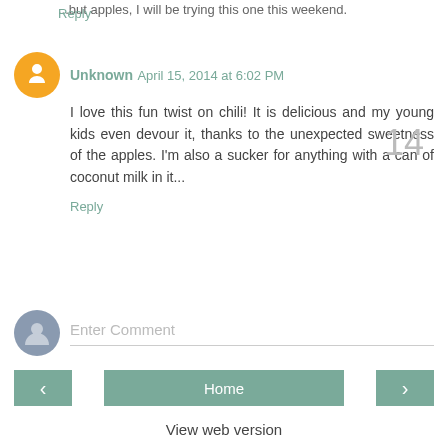...but apples, I will be trying this one this weekend.
Reply
Unknown  April 15, 2014 at 6:02 PM
I love this fun twist on chili! It is delicious and my young kids even devour it, thanks to the unexpected sweetness of the apples. I'm also a sucker for anything with a can of coconut milk in it...
Reply
Enter Comment
Home
View web version